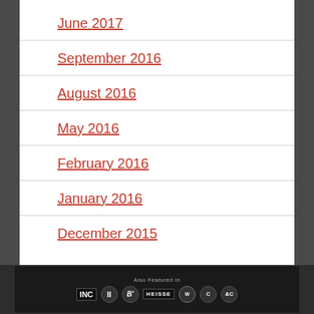June 2017
September 2016
August 2016
May 2016
February 2016
January 2016
December 2015
Also Featured In: INC, HEISSE, W, C&C